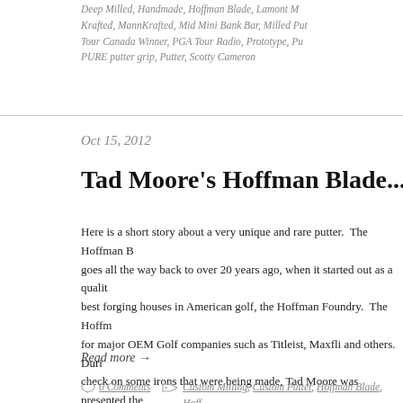Deep Milled, Handmade, Hoffman Blade, Lamont MannKrafted, MannKrafted, Mid Mini Bank Bar, Milled Putter, Tour Canada Winner, PGA Tour Radio, Prototype, PURE putter grip, Putter, Scotty Cameron
Oct 15, 2012
Tad Moore's Hoffman Blade... Mann
Here is a short story about a very unique and rare putter.  The Hoffman B goes all the way back to over 20 years ago, when it started out as a qualit best forging houses in American golf, the Hoffman Foundry.  The Hoffm for major OEM Golf companies such as Titleist, Maxfli and others.  Duri check on some irons that were being made, Tad Moore was presented the some of the heel-shafted blade.   Fast forward...
Read more →
0 Comments
Custom Milling, Custom Putter, Hoffman Blade, Hoff Foundry, MannKrafted, Milled Putter, Prototype, Putt Moore